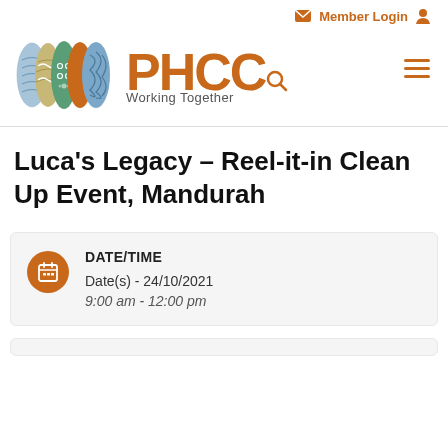Member Login
[Figure (logo): PHCC Working Together logo with colorful swatches and text]
Luca's Legacy – Reel-it-in Clean Up Event, Mandurah
| DATE/TIME |  |
| --- | --- |
| Date(s) - 24/10/2021 |  |
| 9:00 am - 12:00 pm |  |